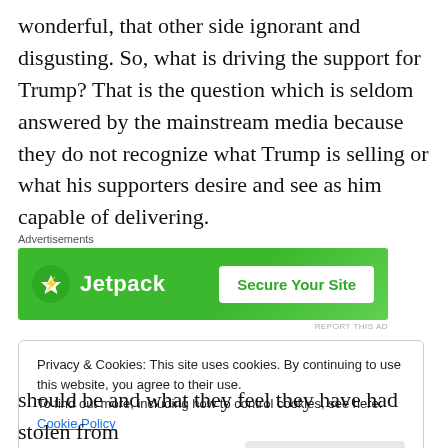wonderful, that other side ignorant and disgusting. So, what is driving the support for Trump? That is the question which is seldom answered by the mainstream media because they do not recognize what Trump is selling or what his supporters desire and see as him capable of delivering.
[Figure (other): Jetpack advertisement banner with green background showing Jetpack logo and 'Secure Your Site' button]
Privacy & Cookies: This site uses cookies. By continuing to use this website, you agree to their use.
To find out more, including how to control cookies, see here: Cookie Policy
should be and what they feel they have had stolen from